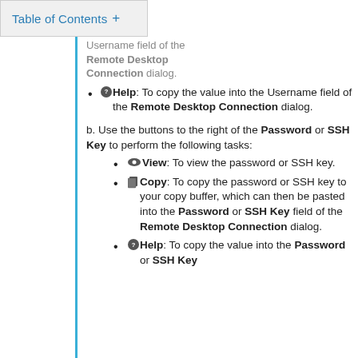Table of Contents +
Username field of the Remote Desktop Connection dialog.
Help: To copy the value into the Username field of the Remote Desktop Connection dialog.
b. Use the buttons to the right of the Password or SSH Key to perform the following tasks:
View: To view the password or SSH key.
Copy: To copy the password or SSH key to your copy buffer, which can then be pasted into the Password or SSH Key field of the Remote Desktop Connection dialog.
Help: To copy the value into the Password or SSH Key